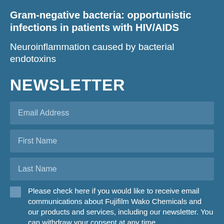Gram-negative bacteria: opportunistic infections in patients with HIV/AIDS
Neuroinflammation caused by bacterial endotoxins
NEWSLETTER
Email Address
First Name
Last Name
Please check here if you would like to receive email communications about Fujifilm Wako Chemicals and our products and services, including our newsletter. You can withdraw your consent at any time.